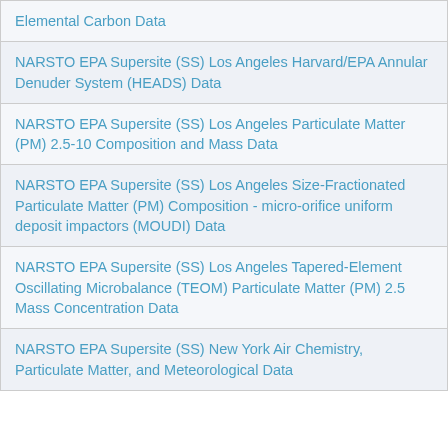Elemental Carbon Data
NARSTO EPA Supersite (SS) Los Angeles Harvard/EPA Annular Denuder System (HEADS) Data
NARSTO EPA Supersite (SS) Los Angeles Particulate Matter (PM) 2.5-10 Composition and Mass Data
NARSTO EPA Supersite (SS) Los Angeles Size-Fractionated Particulate Matter (PM) Composition - micro-orifice uniform deposit impactors (MOUDI) Data
NARSTO EPA Supersite (SS) Los Angeles Tapered-Element Oscillating Microbalance (TEOM) Particulate Matter (PM) 2.5 Mass Concentration Data
NARSTO EPA Supersite (SS) New York Air Chemistry, Particulate Matter, and Meteorological Data